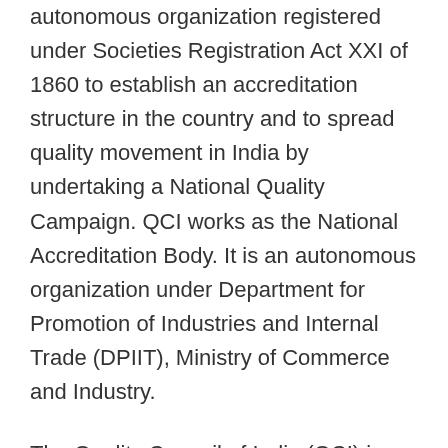autonomous organization registered under Societies Registration Act XXI of 1860 to establish an accreditation structure in the country and to spread quality movement in India by undertaking a National Quality Campaign. QCI works as the National Accreditation Body. It is an autonomous organization under Department for Promotion of Industries and Internal Trade (DPIIT), Ministry of Commerce and Industry.
The Quality Council of India (QCI) is a non-profit autonomous organization registered under Societies Registration Act XXI of 1860 to establish an